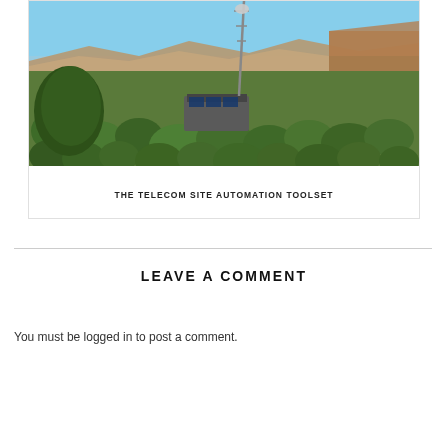[Figure (photo): Aerial drone photograph of a remote telecom site with a communication tower and solar panels, surrounded by desert scrubland and canyon landscape under blue sky.]
THE TELECOM SITE AUTOMATION TOOLSET
LEAVE A COMMENT
You must be logged in to post a comment.